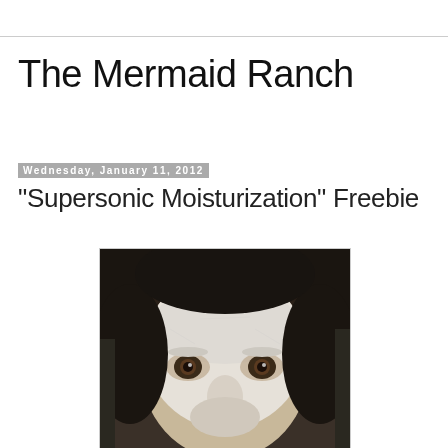The Mermaid Ranch
Wednesday, January 11, 2012
"Supersonic Moisturization" Freebie
[Figure (photo): Close-up photo of a person's face covered in a white face mask/moisturizing treatment, looking up at the camera with visible eyes. Dark hair visible around the face.]